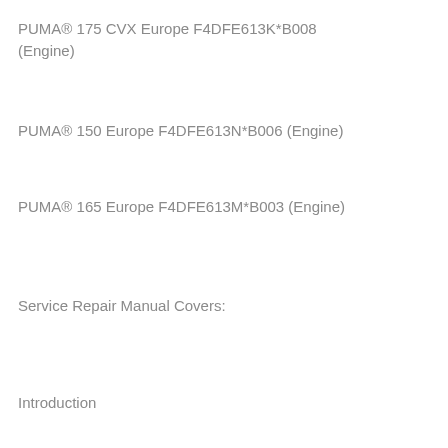PUMA® 175 CVX Europe F4DFE613K*B008 (Engine)
PUMA® 150 Europe F4DFE613N*B006 (Engine)
PUMA® 165 Europe F4DFE613M*B003 (Engine)
Service Repair Manual Covers:
Introduction